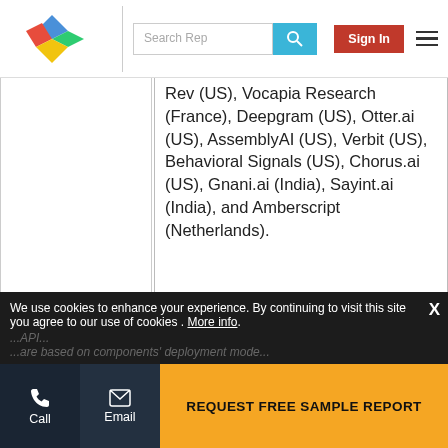Search Rep | Sign In
Rev (US), Vocapia Research (France), Deepgram (US), Otter.ai (US), AssemblyAI (US), Verbit (US), Behavioral Signals (US), Chorus.ai (US), Gnani.ai (India), Sayint.ai (India), and Amberscript (Netherlands).
We use cookies to enhance your experience. By continuing to visit this site you agree to our use of cookies . More info.
...API... ...are based on components' deployment mode...
REQUEST FREE SAMPLE REPORT